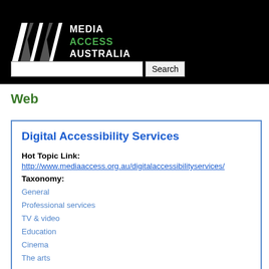[Figure (logo): Media Access Australia logo with stylized M graphic and text reading MEDIA ACCESS AUSTRALIA on black background, with a search input and Search button below]
Web
Digital Accessibility Services
Hot Topic Link:
http://www.mediaaccess.org.au/digitalaccessibilityservices/
Taxonomy:
General
Professional services
TV & video
Education
Cinema
The arts
Digital technology
Web
Research & policy
News